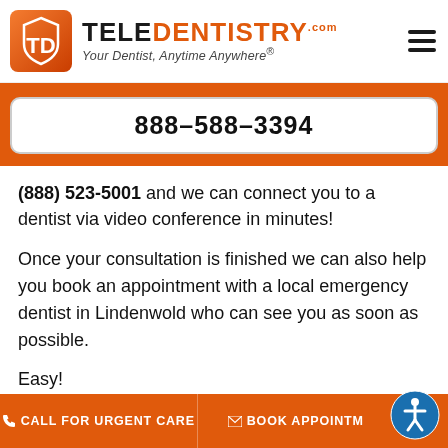[Figure (logo): TeleDentistry logo with orange shield icon and text 'TELE DENTISTRY .com — Your Dentist, Anytime Anywhere®']
888–588–3394
(888) 523-5001 and we can connect you to a dentist via video conference in minutes!
Once your consultation is finished we can also help you book an appointment with a local emergency dentist in Lindenwold who can see you as soon as possible.
Easy!
CALL FOR URGENT CARE   BOOK APPOINTMENT